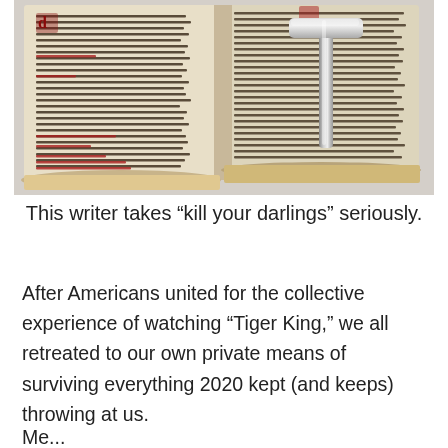[Figure (photo): An open ancient manuscript book with handwritten text in dark ink, with some red lettering, and a metal T-shaped tool resting on the right page. The pages are yellowed and the book sits on a light gray surface.]
This writer takes “kill your darlings” seriously.
After Americans united for the collective experience of watching “Tiger King,” we all retreated to our own private means of surviving everything 2020 kept (and keeps) throwing at us.
Me...